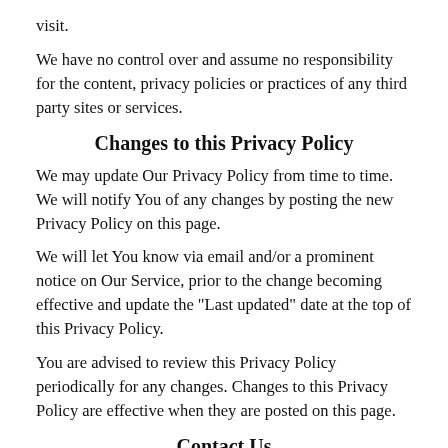visit.
We have no control over and assume no responsibility for the content, privacy policies or practices of any third party sites or services.
Changes to this Privacy Policy
We may update Our Privacy Policy from time to time. We will notify You of any changes by posting the new Privacy Policy on this page.
We will let You know via email and/or a prominent notice on Our Service, prior to the change becoming effective and update the "Last updated" date at the top of this Privacy Policy.
You are advised to review this Privacy Policy periodically for any changes. Changes to this Privacy Policy are effective when they are posted on this page.
Contact Us
If you have any questions about this Privacy Policy, You